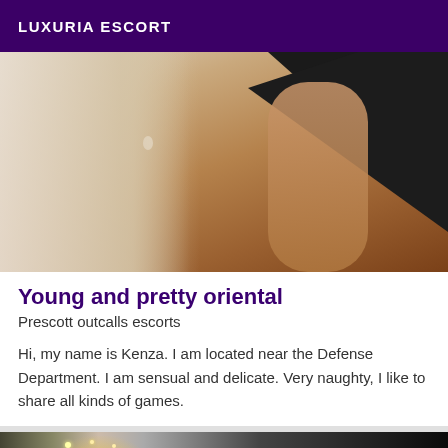LUXURIA ESCORT
[Figure (photo): Photo of a person in a dark garment against a light wall background, partial body view showing legs and torso]
Young and pretty oriental
Prescott outcalls escorts
Hi, my name is Kenza. I am located near the Defense Department. I am sensual and delicate. Very naughty, I like to share all kinds of games.
[Figure (photo): Partial view of a chandelier with lights, dark background, second listing image]